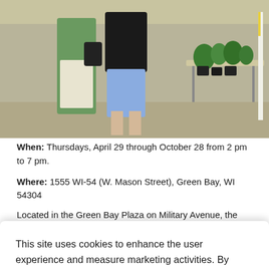[Figure (photo): Outdoor farmers market scene showing people shopping near plant displays and potted greenery on tables in a sunny setting.]
When: Thursdays, April 29 through October 28 from 2 pm to 7 pm.
Where: 1555 WI-54 (W. Mason Street), Green Bay, WI 54304
Located in the Green Bay Plaza on Military Avenue, the
This site uses cookies to enhance the user experience and measure marketing activities. By continuing to use this website, you agree to their use. To find out more, please see our Privacy Policy.
ACCEPT